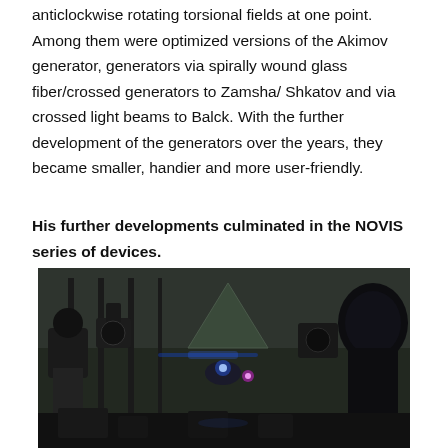anticlockwise rotating torsional fields at one point. Among them were optimized versions of the Akimov generator, generators via spirally wound glass fiber/crossed generators to Zamsha/ Shkatov and via crossed light beams to Balck. With the further development of the generators over the years, they became smaller, handier and more user-friendly.
His further developments culminated in the NOVIS series of devices.
[Figure (photo): Laboratory photograph showing multiple scientific/optical devices and equipment mounted on a rail or bench, with visible blue and purple light emissions in a dark lab setting.]